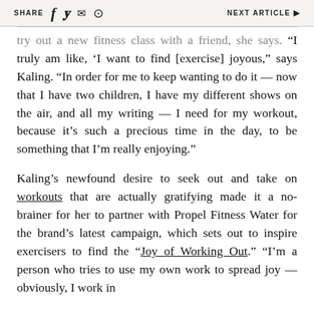SHARE [facebook] [twitter] [mail] [whatsapp]   NEXT ARTICLE ▶
try out a new fitness class with a friend, she says. “I truly am like, ‘I want to find [exercise] joyous,” says Kaling. “In order for me to keep wanting to do it — now that I have two children, I have my different shows on the air, and all my writing — I need for my workout, because it’s such a precious time in the day, to be something that I’m really enjoying.”
Kaling’s newfound desire to seek out and take on workouts that are actually gratifying made it a no-brainer for her to partner with Propel Fitness Water for the brand’s latest campaign, which sets out to inspire exercisers to find the “Joy of Working Out.” “I’m a person who tries to use my own work to spread joy — obviously, I work in